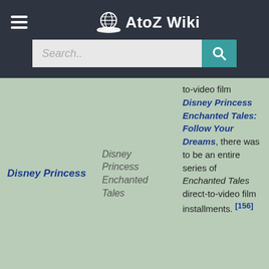AtoZ Wiki
Search..
to-video film Disney Princess Enchanted Tales: Follow Your Dreams, there was to be an entire series of Enchanted Tales direct-to-video film installments. [156]
Disney Princess
Disney Princess Enchanted Tales